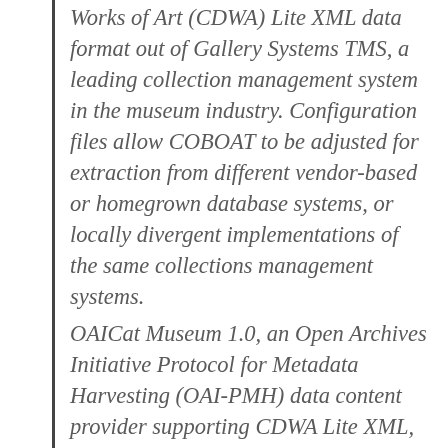Works of Art (CDWA) Lite XML data format out of Gallery Systems TMS, a leading collection management system in the museum industry. Configuration files allow COBOAT to be adjusted for extraction from different vendor-based or homegrown database systems, or locally divergent implementations of the same collections management systems.
OAICat Museum 1.0, an Open Archives Initiative Protocol for Metadata Harvesting (OAI-PMH) data content provider supporting CDWA Lite XML, is also available. It allows museums to